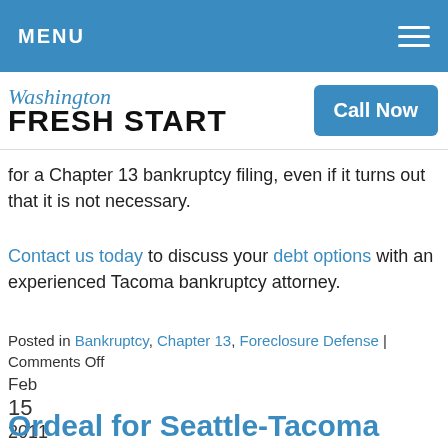MENU
[Figure (logo): Washington Fresh Start law firm logo with 'Call Now' button]
for a Chapter 13 bankruptcy filing, even if it turns out that it is not necessary.
Contact us today to discuss your debt options with an experienced Tacoma bankruptcy attorney.
Posted in Bankruptcy, Chapter 13, Foreclosure Defense | Comments Off
Feb
15
2011
Ordeal for Seattle-Tacoma